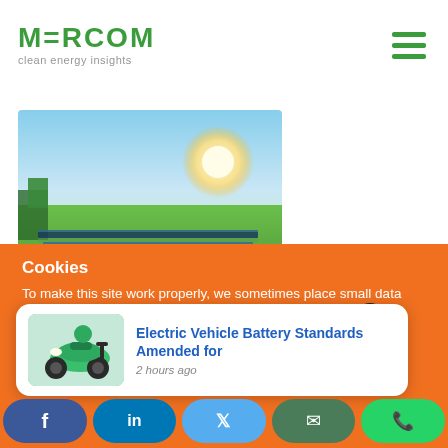MERCOM clean energy insights
[Figure (photo): Aerial view of a solar panel farm with bright sun and green fields]
Cookies
To make this site work properly, we sometimes place small data files called cookies on your device. Most big websites do this too.
[Figure (photo): Green electric scooter/motorcycle]
Electric Vehicle Battery Standards Amended for
2 hours ago